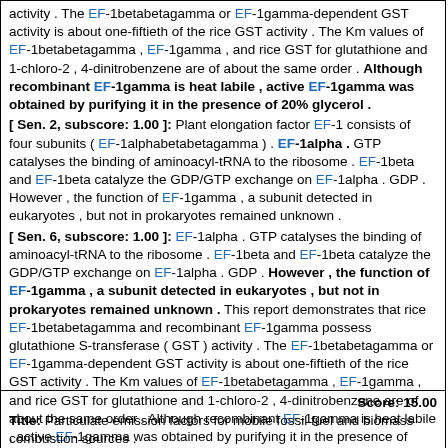activity . The EF-1betabetagamma or EF-1gamma-dependent GST activity is about one-fiftieth of the rice GST activity . The Km values of EF-1betabetagamma , EF-1gamma , and rice GST for glutathione and 1-chloro-2 , 4-dinitrobenzene are of about the same order . Although recombinant EF-1gamma is heat labile , active EF-1gamma was obtained by purifying it in the presence of 20% glycerol .
[ Sen. 2, subscore: 1.00 ]: Plant elongation factor EF-1 consists of four subunits ( EF-1alphabetabetagamma ) . EF-1alpha . GTP catalyses the binding of aminoacyl-tRNA to the ribosome . EF-1beta and EF-1beta catalyze the GDP/GTP exchange on EF-1alpha . GDP . However , the function of EF-1gamma , a subunit detected in eukaryotes , but not in prokaryotes remained unknown .
[ Sen. 6, subscore: 1.00 ]: EF-1alpha . GTP catalyses the binding of aminoacyl-tRNA to the ribosome . EF-1beta and EF-1beta catalyze the GDP/GTP exchange on EF-1alpha . GDP . However , the function of EF-1gamma , a subunit detected in eukaryotes , but not in prokaryotes remained unknown . This report demonstrates that rice EF-1betabetagamma and recombinant EF-1gamma possess glutathione S-transferase ( GST ) activity . The EF-1betabetagamma or EF-1gamma-dependent GST activity is about one-fiftieth of the rice GST activity . The Km values of EF-1betabetagamma , EF-1gamma , and rice GST for glutathione and 1-chloro-2 , 4-dinitrobenzene are of about the same order . Although recombinant EF-1gamma is heat labile , active EF-1gamma was obtained by purifying it in the presence of 20% glycerol .
Score: 15.00
Title: Particulate emission factors for mobile fossil fuel and biomass combustion sources .
Journal: Sci Total Environ